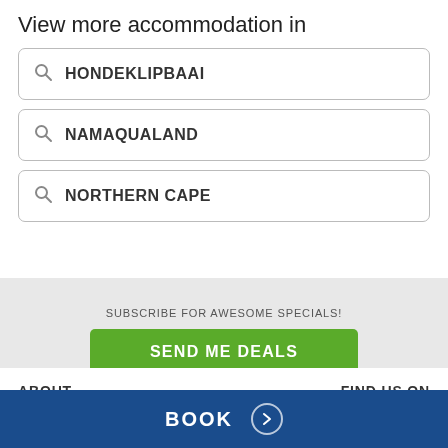View more accommodation in
HONDEKLIPBAAI
NAMAQUALAND
NORTHERN CAPE
SUBSCRIBE FOR AWESOME SPECIALS!
SEND ME DEALS
ABOUT
FIND US ON
BOOK